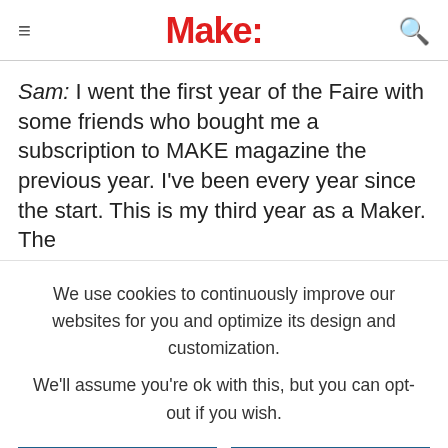Make:
Sam: I went the first year of the Faire with some friends who bought me a subscription to MAKE magazine the previous year. I've been every year since the start. This is my third year as a Maker. The [text cut off]
We use cookies to continuously improve our websites for you and optimize its design and customization.
We'll assume you're ok with this, but you can opt-out if you wish.
CONFIGURE
ACCEPT